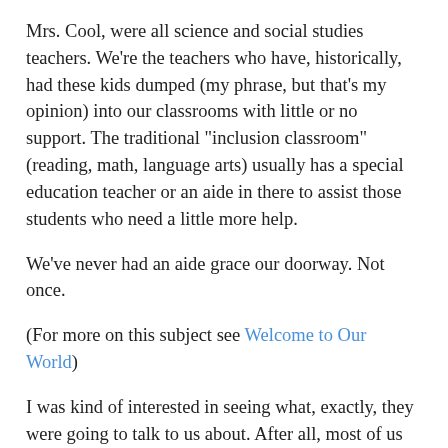Mrs. Cool, were all science and social studies teachers. We're the teachers who have, historically, had these kids dumped (my phrase, but that's my opinion) into our classrooms with little or no support. The traditional "inclusion classroom" (reading, math, language arts) usually has a special education teacher or an aide in there to assist those students who need a little more help.
We've never had an aide grace our doorway. Not once.
(For more on this subject see Welcome to Our World)
I was kind of interested in seeing what, exactly, they were going to talk to us about. After all, most of us have been modifying and working with these kids for a while, and many of us have done a pretty good job of working with our special education department on creating IEP's, modified work, modified tests, etc. And amazingly enough, in our building, we're doing something right because these kids are hitting their goals and showing growth.
Apparently the focus on the day was on how to work with